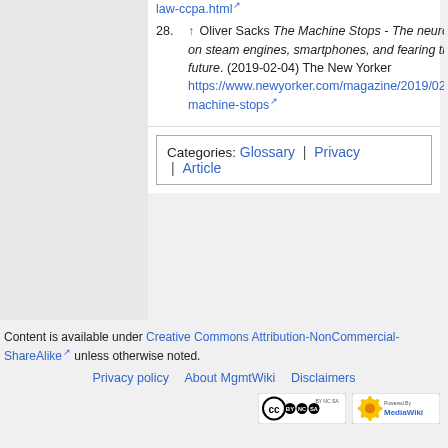law-ccpa.html [external link]
28. ↑ Oliver Sacks The Machine Stops - The neurologist on steam engines, smartphones, and fearing the future. (2019-02-04) The New Yorker https://www.newyorker.com/magazine/2019/02/11/the-machine-stops [external link]
Categories: Glossary | Privacy | Article
Content is available under Creative Commons Attribution-NonCommercial-ShareAlike unless otherwise noted.
Privacy policy   About MgmtWiki   Disclaimers